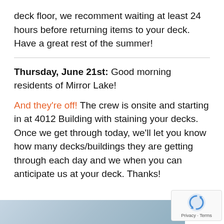deck floor, we recomment waiting at least 24 hours before returning items to your deck. Have a great rest of the summer!
Thursday, June 21st: Good morning residents of Mirror Lake!
And they're off! The crew is onsite and starting in at 4012 Building with staining your decks. Once we get through today, we'll let you know how many decks/buildings they are getting through each day and we when you can anticipate us at your deck. Thanks!
[Figure (photo): Partial view of an outdoor winter/summer scene, cropped at bottom of page]